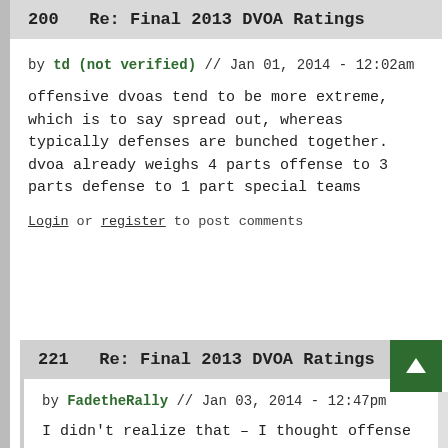200   Re: Final 2013 DVOA Ratings
by td (not verified) // Jan 01, 2014 - 12:02am
offensive dvoas tend to be more extreme, which is to say spread out, whereas typically defenses are bunched together. dvoa already weighs 4 parts offense to 3 parts defense to 1 part special teams
Login or register to post comments
221   Re: Final 2013 DVOA Ratings
by FadetheRally // Jan 03, 2014 - 12:47pm
I didn't realize that – I thought offense